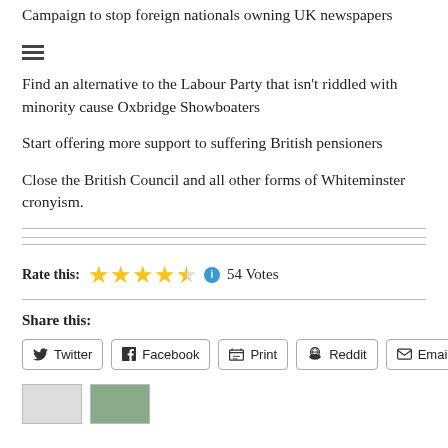Campaign to stop foreign nationals owning UK newspapers
Find an alternative to the Labour Party that isn't riddled with minority cause Oxbridge Showboaters
Start offering more support to suffering British pensioners
Close the British Council and all other forms of Whiteminster cronyism.
Rate this: ★★★★½  54 Votes
Share this:
Twitter  Facebook  Print  Reddit  Email